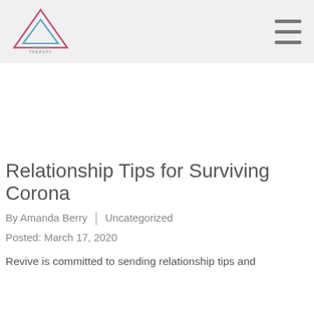[Figure (logo): Triangle/pyramid logo with text 'Revive Therapy' in gradient teal/pink colors]
Relationship Tips for Surviving Corona
By Amanda Berry | Uncategorized
Posted: March 17, 2020
Revive is committed to sending relationship tips and